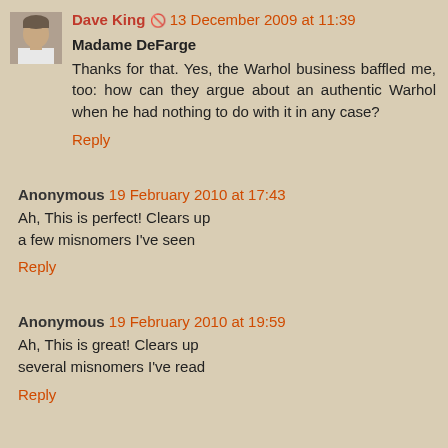[Figure (photo): Small avatar photo of a man in a white shirt]
Dave King 🚫 13 December 2009 at 11:39
Madame DeFarge
Thanks for that. Yes, the Warhol business baffled me, too: how can they argue about an authentic Warhol when he had nothing to do with it in any case?
Reply
Anonymous 19 February 2010 at 17:43
Ah, This is perfect! Clears up a few misnomers I've seen
Reply
Anonymous 19 February 2010 at 19:59
Ah, This is great! Clears up several misnomers I've read
Reply